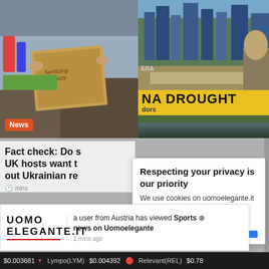[Figure (screenshot): News website screenshot showing two thumbnail images - left: person holding cardboard sign with 'News' badge, right: aerial city/river view with 'NA DROUGHT' yellow banner]
Fact check: Do S UK hosts want t out Ukrainian re
Respecting your privacy is our priority
We use cookies on uomoelegante.it to give you an optimal experience. Happy surfing.
a user from Austria has viewed Sports news on Uomoelegante
1 mins ago
$0.003681  Lympo(LYM)  $0.004392  Relevant(REL)  $0.78